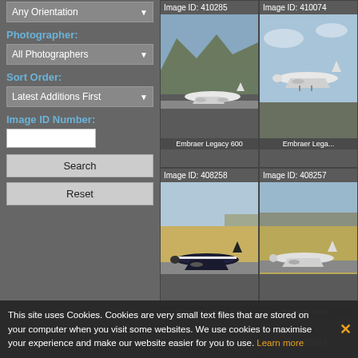Any Orientation (dropdown)
Photographer:
All Photographers (dropdown)
Sort Order:
Latest Additions First (dropdown)
Image ID Number:
Search
Reset
Image ID: 410285
Image ID: 410074
[Figure (photo): Embraer Legacy 600 aircraft on runway with mountains in background]
[Figure (photo): Embraer Legacy aircraft in flight against blue sky]
Embraer Legacy 600
Embraer Lega...
Image ID: 408258
Image ID: 408257
[Figure (photo): Embraer Legacy 600 aircraft on tarmac with yellow grass]
[Figure (photo): Embraer Legacy aircraft on ground]
Embraer Legacy 600
Embraer Lega...
Image ID: 403425
Image ID: 403423
This site uses Cookies. Cookies are very small text files that are stored on your computer when you visit some websites. We use cookies to maximise your experience and make our website easier for you to use. Learn more